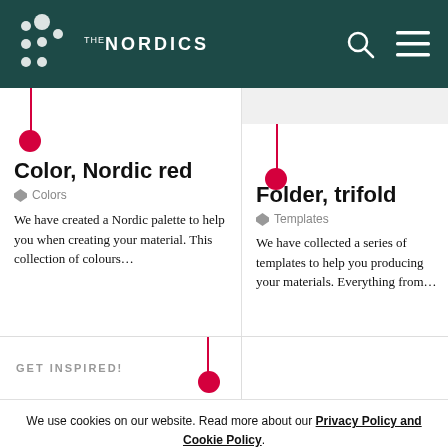[Figure (logo): The Nordics website header with logo (dot pattern and THE NORDICS text), search icon, and hamburger menu icon on dark teal background]
Color, Nordic red
Colors
We have created a Nordic palette to help you when creating your material. This collection of colours...
Folder, trifold
Templates
We have collected a series of templates to help you producing your materials. Everything from...
GET INSPIRED!
We use cookies on our website. Read more about our Privacy Policy and Cookie Policy.
Accept